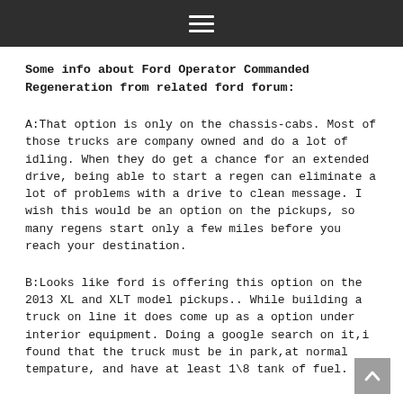☰
Some info about Ford Operator Commanded Regeneration from related ford forum:
A:That option is only on the chassis-cabs. Most of those trucks are company owned and do a lot of idling. When they do get a chance for an extended drive, being able to start a regen can eliminate a lot of problems with a drive to clean message. I wish this would be an option on the pickups, so many regens start only a few miles before you reach your destination.
B:Looks like ford is offering this option on the 2013 XL and XLT model pickups.. While building a truck on line it does come up as a option under interior equipment. Doing a google search on it,i found that the truck must be in park,at normal tempature, and have at least 1\8 tank of fuel.